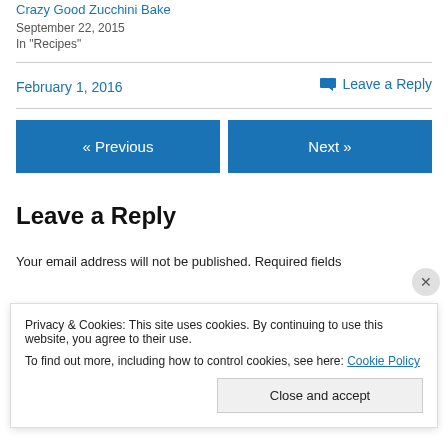Crazy Good Zucchini Bake
September 22, 2015
In "Recipes"
February 1, 2016
Leave a Reply
« Previous
Next »
Leave a Reply
Your email address will not be published. Required fields
Privacy & Cookies: This site uses cookies. By continuing to use this website, you agree to their use.
To find out more, including how to control cookies, see here: Cookie Policy
Close and accept